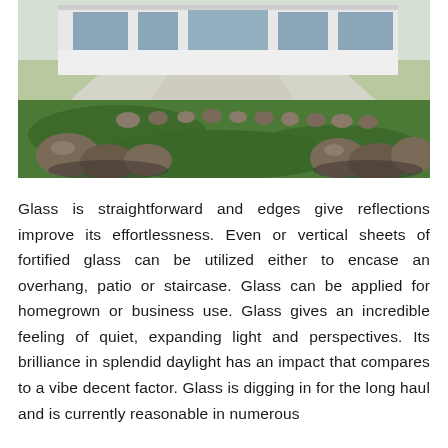[Figure (photo): Exterior photo of a modern house with large glass windows, green lawn, rocks and boulders in landscaping, concrete driveway visible at dusk or daytime.]
Glass is straightforward and edges give reflections improve its effortlessness. Even or vertical sheets of fortified glass can be utilized either to encase an overhang, patio or staircase. Glass can be applied for homegrown or business use. Glass gives an incredible feeling of quiet, expanding light and perspectives. Its brilliance in splendid daylight has an impact that compares to a vibe decent factor. Glass is digging in for the long haul and is currently reasonable in numerous